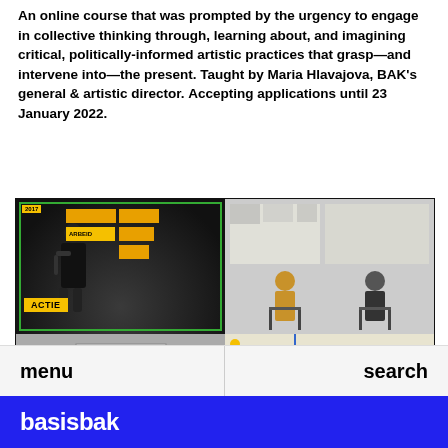An online course that was prompted by the urgency to engage in collective thinking through, learning about, and imagining critical, politically-informed artistic practices that grasp—and intervene into—the present. Taught by Maria Hlavajova, BAK's general & artistic director. Accepting applications until 23 January 2022.
[Figure (photo): A 2x2 grid of photos: top-left shows a speaker on stage with yellow banners reading 'ACTIE', top-right shows two people seated watching a projected presentation, bottom-left shows a gallery space with pedestals and artworks, bottom-right shows a protest banner reading 'WE DON'T WANT A PIECE OF THE PIE WE WANT THE WHOLE F**ING BAKERY' on a yellow background over a map.]
menu    search
basis bak